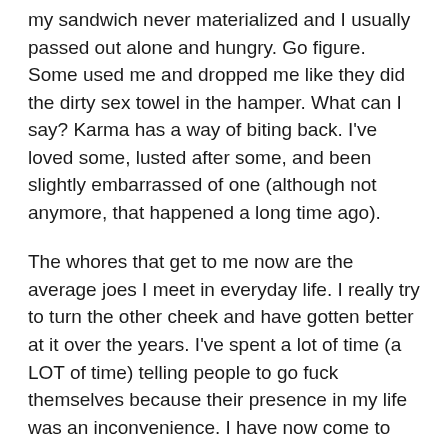my sandwich never materialized and I usually passed out alone and hungry. Go figure. Some used me and dropped me like they did the dirty sex towel in the hamper. What can I say? Karma has a way of biting back. I've loved some, lusted after some, and been slightly embarrassed of one (although not anymore, that happened a long time ago).
The whores that get to me now are the average joes I meet in everyday life. I really try to turn the other cheek and have gotten better at it over the years. I've spent a lot of time (a LOT of time) telling people to go fuck themselves because their presence in my life was an inconvenience. I have now come to realize that treating someone